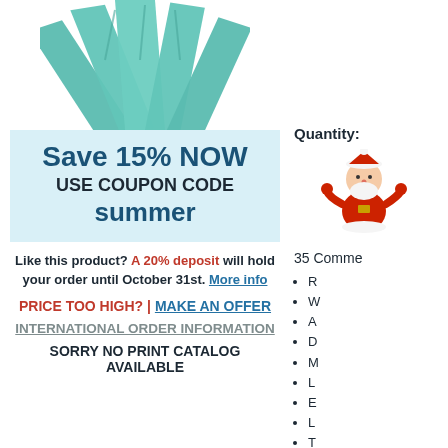[Figure (photo): Teal/mint colored product fins or blades fanned out at top of page]
Save 15% NOW
USE COUPON CODE
summer
Like this product? A 20% deposit will hold your order until October 31st. More info
PRICE TOO HIGH? | MAKE AN OFFER
INTERNATIONAL ORDER INFORMATION
SORRY NO PRINT CATALOG AVAILABLE
Quantity:
[Figure (illustration): Small Santa Claus cartoon illustration]
35 Comme
R
W
A
D
M
L
E
L
T
W
M